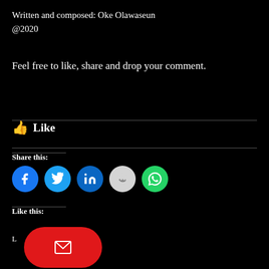Written and composed: Oke Olawaseun
@2020
Feel free to like, share and drop your comment.
👍 Like
Share this:
[Figure (infographic): Five social share icon buttons: Facebook (blue), Twitter (light blue), LinkedIn (dark blue), Reddit (light gray), WhatsApp (green)]
Like this:
[Figure (infographic): Red rounded rectangle email subscribe button with white envelope icon]